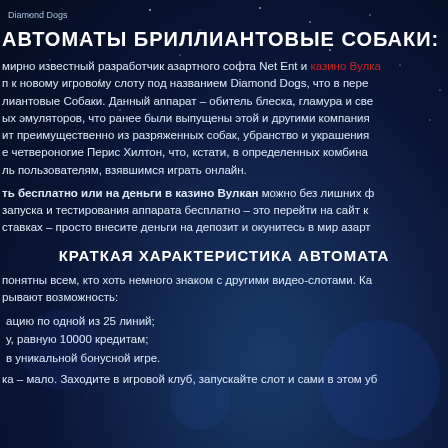Diamond Dogs
АВТОМАТЫ БРИЛЛИАНТОВЫЕ СОБАКИ:
мирно известный разработчик азартного софта Net Ent и казино Вулка п к новому игровому слоту под названием Diamond Dogs, что в пере лиантовые Собаки. Данный аппарат – обитель блеска, гламура и све ых эмуляторов, что ранее были выпущены этой и другими компания ит преимущественно из разряженных собак, убранство и украшения е четвероногие Перис Хилтон, что, кстати, в определенных комбина ль пользователям, взявшимся играть онлайн.
ть бесплатно или на деньги в казино Вулкан можно без лишних ф запуска и тестирования аппарата бесплатно – это перейти на сайт ставках – просто внесите деньги на депозит и окунитесь в мир азарт
КРАТКАЯ ХАРАКТЕРИСТИКА АВТОМАТА
понятны всем, кто хоть немного знаком с другими видео-слотами. Ка рывают возможность:
ацию по одной из 25 линий;
у, равную 10000 кредитам;
в уникальной бонусной игре.
ка – мало. Заходите в игровой клуб, запускайте слот и сами в этом уб